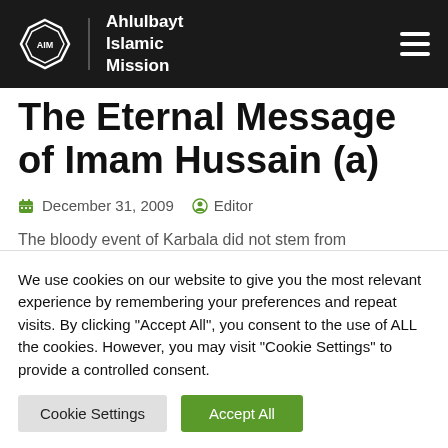Ahlulbayt Islamic Mission
The Eternal Message of Imam Hussain (a)
December 31, 2009   Editor
The bloody event of Karbala did not stem from two political rivals who are after power and land
We use cookies on our website to give you the most relevant experience by remembering your preferences and repeat visits. By clicking "Accept All", you consent to the use of ALL the cookies. However, you may visit "Cookie Settings" to provide a controlled consent.